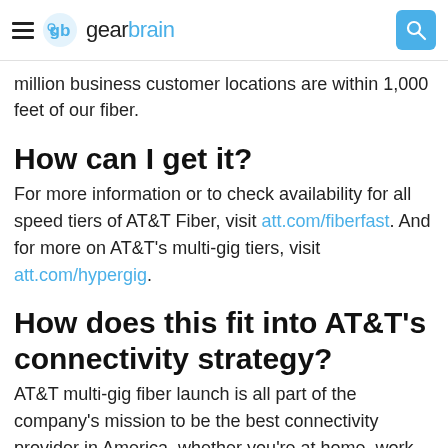gearbrain
million business customer locations are within 1,000 feet of our fiber.
How can I get it?
For more information or to check availability for all speed tiers of AT&T Fiber, visit att.com/fiberfast. And for more on AT&T's multi-gig tiers, visit att.com/hypergig.
How does this fit into AT&T's connectivity strategy?
AT&T multi-gig fiber launch is all part of the company's mission to be the best connectivity provider in America, whether you're at home, work